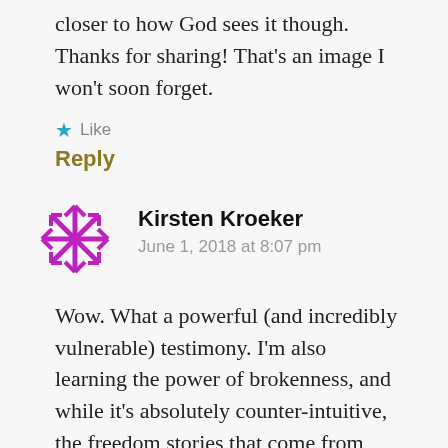closer to how God sees it though. Thanks for sharing! That's an image I won't soon forget.
★ Like
Reply
Kirsten Kroeker
June 1, 2018 at 8:07 pm
Wow. What a powerful (and incredibly vulnerable) testimony. I'm also learning the power of brokenness, and while it's absolutely counter-intuitive, the freedom stories that come from there are amazing. I believe God is going to use your story in powerful ways!
★ Like